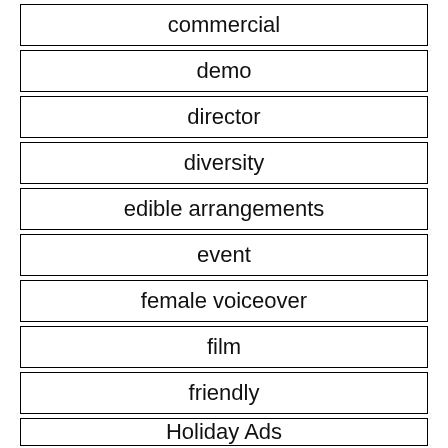commercial
demo
director
diversity
edible arrangements
event
female voiceover
film
friendly
Holiday Ads